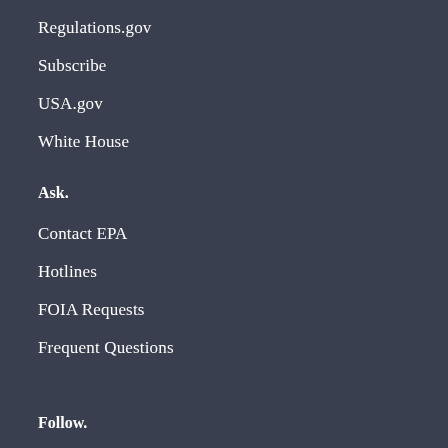Regulations.gov
Subscribe
USA.gov
White House
Ask.
Contact EPA
Hotlines
FOIA Requests
Frequent Questions
Follow.